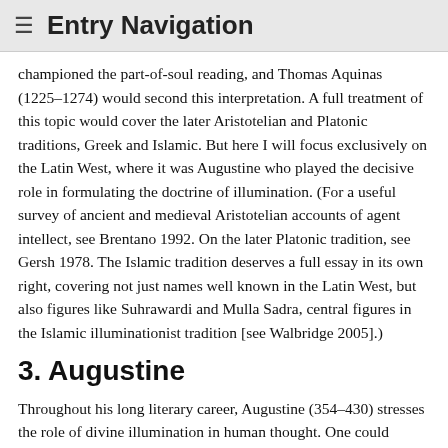≡  Entry Navigation
championed the part-of-soul reading, and Thomas Aquinas (1225–1274) would second this interpretation. A full treatment of this topic would cover the later Aristotelian and Platonic traditions, Greek and Islamic. But here I will focus exclusively on the Latin West, where it was Augustine who played the decisive role in formulating the doctrine of illumination. (For a useful survey of ancient and medieval Aristotelian accounts of agent intellect, see Brentano 1992. On the later Platonic tradition, see Gersh 1978. The Islamic tradition deserves a full essay in its own right, covering not just names well known in the Latin West, but also figures like Suhrawardi and Mulla Sadra, central figures in the Islamic illuminationist tradition [see Walbridge 2005].)
3. Augustine
Throughout his long literary career, Augustine (354–430) stresses the role of divine illumination in human thought. One could choose almost any work to illustrate this point: